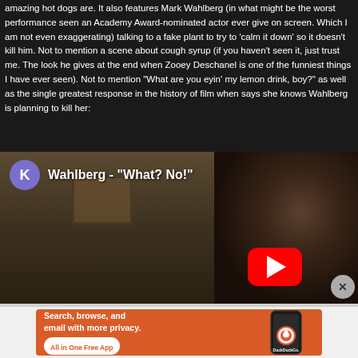amazing hot dogs are. It also features Mark Wahlberg (in what might be the worst performance seen an Academy Award-nominated actor ever give on screen. Which I am not even exaggerating) talking to a fake plant to try to 'calm it down' so it doesn't kill him. Not to mention a scene about cough syrup (if you haven't seen it, just trust me. The look he gives at the end when Zooey Deschanel is one of the funniest things I have ever seen). Not to mention "What are you eyin' my lemon drink, boy?" as well as the single greatest response in the history of film when says she knows Wahlberg is planning to kill her:
[Figure (screenshot): YouTube video thumbnail showing Wahlberg - "What? No!" with a purple K avatar icon on the left, a YouTube play button overlay (red rounded rectangle with white triangle), and a dark cinematic still of a man in a dimly lit room.]
[Figure (screenshot): DuckDuckGo advertisement banner with orange background. Text: 'Search, browse, and email with more privacy. All in One Free App' with DuckDuckGo logo and phone mockup on the right.]